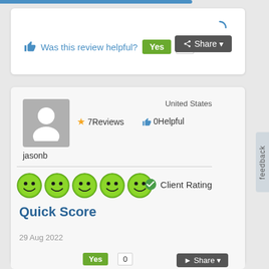Was this review helpful? Yes 0 Share
United States
7Reviews   0Helpful
jasonb
[Figure (other): Five green smiley face emoji rating icons in a row]
Client Rating
Quick Score
29 Aug 2022